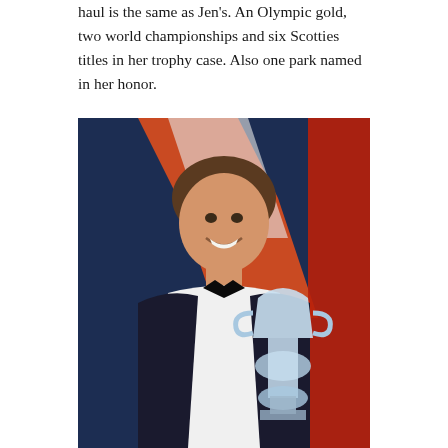haul is the same as Jen's. An Olympic gold, two world championships and six Scotties titles in her trophy case. Also one park named in her honor.
[Figure (photo): A young man in a black tuxedo with bow tie, smiling, holding a large crystal/glass trophy. He is standing in front of a backdrop featuring the NHL logo in orange and navy blue.]